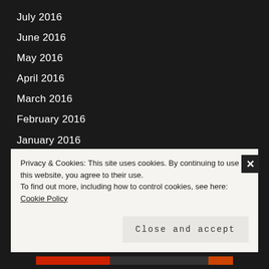July 2016
June 2016
May 2016
April 2016
March 2016
February 2016
January 2016
December 2015
November 2015
October 2015
September 2015
August 2015
Privacy & Cookies: This site uses cookies. By continuing to use this website, you agree to their use.
To find out more, including how to control cookies, see here: Cookie Policy
Close and accept